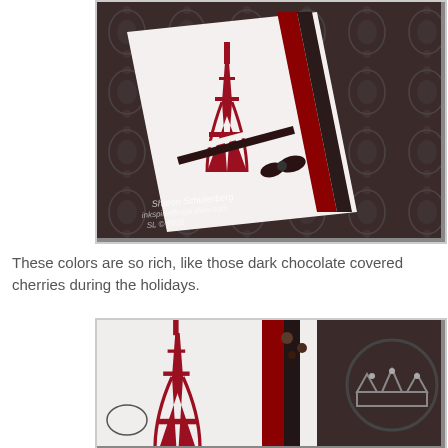[Figure (photo): Close-up photo of a handmade greeting card featuring a red glitter Eiffel Tower stamp on white paper, with dark brown/black and red ribbon strips, bow, and a decorative damask-patterned dark background. Watermark text reads 'Sharon Schulenberg inkspiredInspiration.com SL © 2010'.]
These colors are so rich, like those dark chocolate covered cherries during the holidays.
[Figure (photo): Close-up photo of a handmade card detail showing a red glitter Eiffel Tower stamp on white paper, with red and dark brown ribbon strips, small circular embellishments, and a crown image stamped in silver on the right side.]